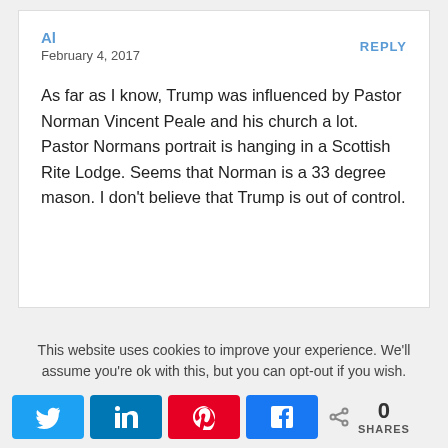Al
February 4, 2017
REPLY
As far as I know, Trump was influenced by Pastor Norman Vincent Peale and his church a lot. Pastor Normans portrait is hanging in a Scottish Rite Lodge. Seems that Norman is a 33 degree mason. I don't believe that Trump is out of control.
This website uses cookies to improve your experience. We'll assume you're ok with this, but you can opt-out if you wish.
0 SHARES